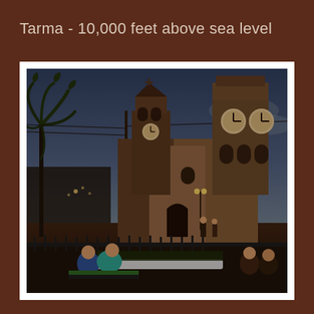Tarma - 10,000 feet above sea level
[Figure (photo): Dusk photograph of a colonial church in Tarma, Peru, at approximately 10,000 feet above sea level. The church has two towers, one with a clock, ornate baroque facade. A palm tree is visible on the left. People sit on a bench in the foreground near an iron fence around a central plaza. The sky is a dim twilight blue.]